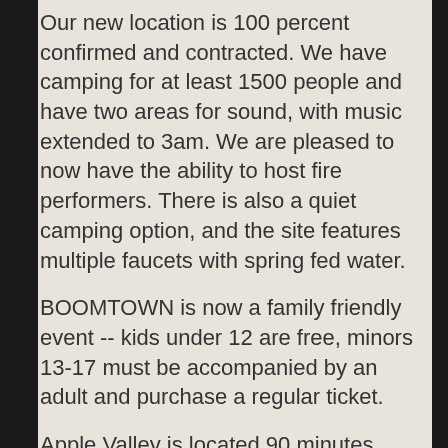Our new location is 100 percent confirmed and contracted. We have camping for at least 1500 people and have two areas for sound, with music extended to 3am. We are pleased to now have the ability to host fire performers. There is also a quiet camping option, and the site features multiple faucets with spring fed water.
BOOMTOWN is now a family friendly event -- kids under 12 are free, minors 13-17 must be accompanied by an adult and purchase a regular ticket.
Apple Valley is located 90 minutes northeast of Los Angeles, conveniently located off the 15 freeway.